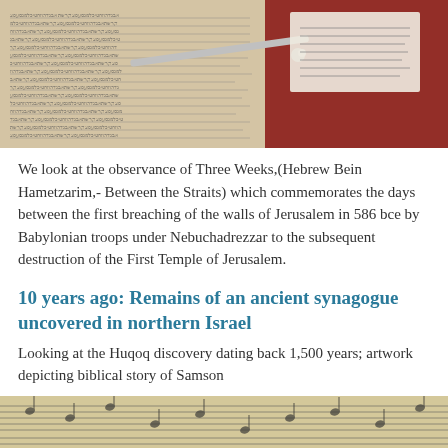[Figure (photo): Photo of an open Torah scroll or manuscript with a silver yad (pointer) resting on it, and a red object/box in the background right]
We look at the observance of Three Weeks,(Hebrew Bein Hametzarim,- Between the Straits) which commemorates the days between the first breaching of the walls of Jerusalem in 586 bce by Babylonian troops under Nebuchadrezzar to the subsequent destruction of the First Temple of Jerusalem.
10 years ago: Remains of an ancient synagogue uncovered in northern Israel
Looking at the Huqoq discovery dating back 1,500 years; artwork depicting biblical story of Samson
You don't need a religion to do soul management
[Figure (photo): Photo of sheet music or musical manuscripts, partially visible at the bottom of the page]